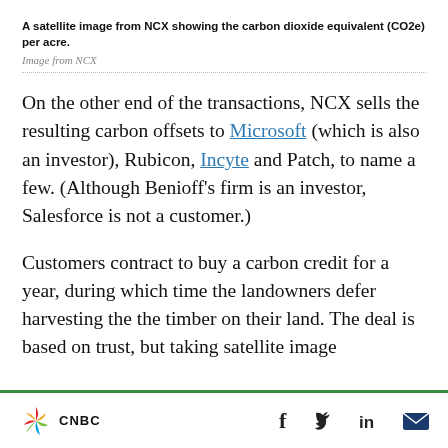A satellite image from NCX showing the carbon dioxide equivalent (CO2e) per acre.
Image from NCX
On the other end of the transactions, NCX sells the resulting carbon offsets to Microsoft (which is also an investor), Rubicon, Incyte and Patch, to name a few. (Although Benioff’s firm is an investor, Salesforce is not a customer.)
Customers contract to buy a carbon credit for a year, during which time the landowners defer harvesting the the timber on their land. The deal is based on trust, but taking satellite image
CNBC